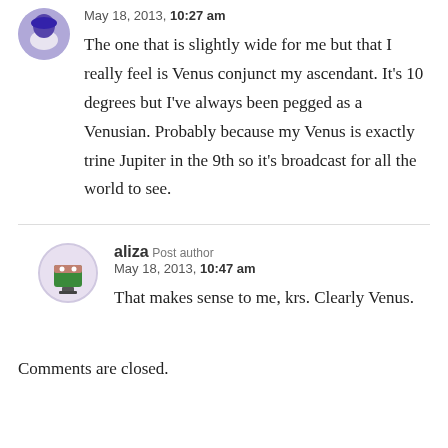May 18, 2013, 10:27 am
The one that is slightly wide for me but that I really feel is Venus conjunct my ascendant. It’s 10 degrees but I’ve always been pegged as a Venusian. Probably because my Venus is exactly trine Jupiter in the 9th so it’s broadcast for all the world to see.
aliza Post author
May 18, 2013, 10:47 am
That makes sense to me, krs. Clearly Venus.
Comments are closed.